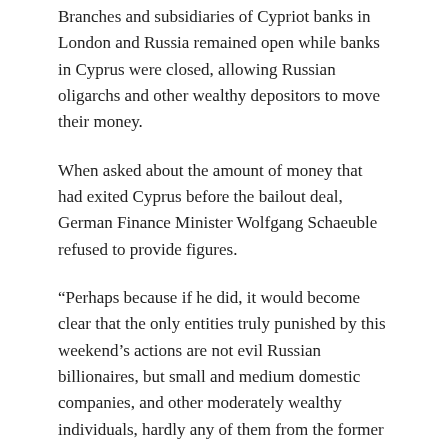Branches and subsidiaries of Cypriot banks in London and Russia remained open while banks in Cyprus were closed, allowing Russian oligarchs and other wealthy depositors to move their money.
When asked about the amount of money that had exited Cyprus before the bailout deal, German Finance Minister Wolfgang Schaeuble refused to provide figures.
“Perhaps because if he did, it would become clear that the only entities truly punished by this weekend’s actions are not evil Russian billionaires, but small and medium domestic companies, and other moderately wealthy individuals, hardly any of them from the former “Evil Empire,” remarks Zero Hedge.